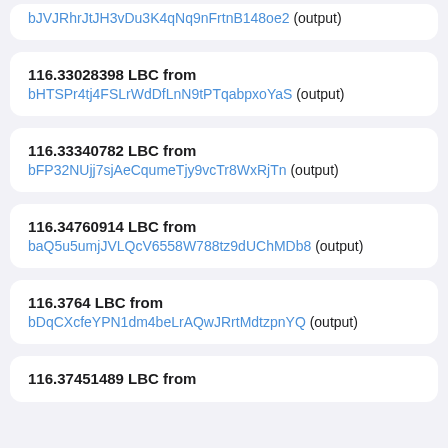bJVJRhrJtJH3vDu3K4qNq9nFrtnB148oe2 (output)
116.33028398 LBC from bHTSPr4tj4FSLrWdDfLnN9tPTqabpxoYaS (output)
116.33340782 LBC from bFP32NUjj7sjAeCqumeTjy9vcTr8WxRjTn (output)
116.34760914 LBC from baQ5u5umjJVLQcV6558W788tz9dUChMDb8 (output)
116.3764 LBC from bDqCXcfeYPN1dm4beLrAQwJRrtMdtzpnYQ (output)
116.37451489 LBC from